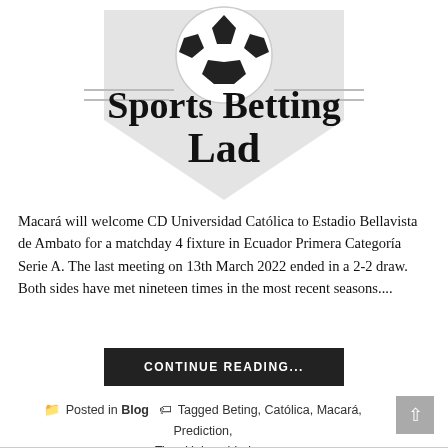[Figure (logo): Sports Betting Lad logo with soccer ball on top of a shield/banner shape, with cursive text reading 'Sports Betting Lad']
Macará will welcome CD Universidad Católica to Estadio Bellavista de Ambato for a matchday 4 fixture in Ecuador Primera Categoría Serie A. The last meeting on 13th March 2022 ended in a 2-2 draw. Both sides have met nineteen times in the most recent seasons....
CONTINUE READING...
Posted in Blog  Tagged Beting, Católica, Macará, Prediction, Tips, Universidad